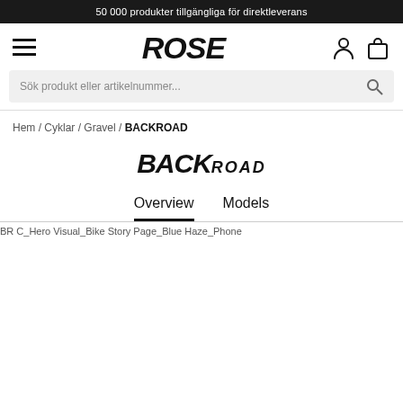50 000 produkter tillgängliga för direktleverans
[Figure (logo): ROSE brand logo in bold italic black text]
Sök produkt eller artikelnummer...
Hem / Cyklar / Gravel / BACKROAD
[Figure (logo): BACKROAD logo with BACK in large bold italic and ROAD in smaller italic]
Overview   Models
[Figure (photo): BR C_Hero Visual_Bike Story Page_Blue Haze_Phone]